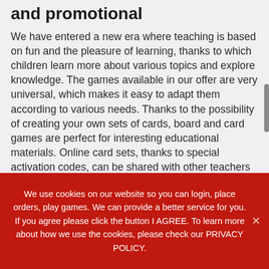and promotional
We have entered a new era where teaching is based on fun and the pleasure of learning, thanks to which children learn more about various topics and explore knowledge. The games available in our offer are very universal, which makes it easy to adapt them according to various needs. Thanks to the possibility of creating your own sets of cards, board and card games are perfect for interesting educational materials. Online card sets, thanks to special activation codes, can be shared with other teachers and students
We use cookies on our website so you can login, place orders, play games. We can provide a better service for you. If you agree please click the button I AGREE. To learn more about how we use the cookies, please check our PRIVACY POLICY.